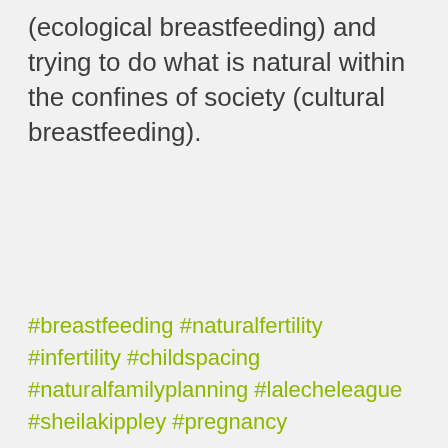(ecological breastfeeding) and trying to do what is natural within the confines of society (cultural breastfeeding).
#breastfeeding #naturalfertility #infertility #childspacing #naturalfamilyplanning #lalecheleague #sheilakippley #pregnancy
[Figure (other): Social sharing icons: Facebook (f), Twitter (bird), LinkedIn (in)]
[Figure (other): Scroll-to-top button (chevron up) and dark footer bar with blue more-options button (...)]